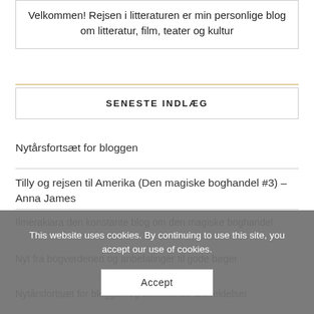Velkommen! Rejsen i litteraturen er min personlige blog om litteratur, film, teater og kultur
SENESTE INDLÆG
Nytårsfortsæt for bloggen
Tilly og rejsen til Amerika (Den magiske boghandel #3) – Anna James
This website uses cookies. By continuing to use this site, you accept our use of cookies.
Accept